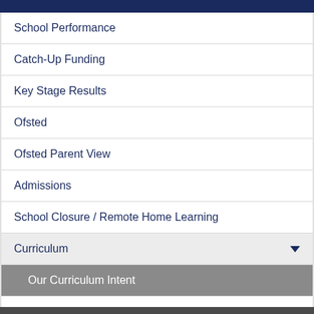School Performance
Catch-Up Funding
Key Stage Results
Ofsted
Ofsted Parent View
Admissions
School Closure / Remote Home Learning
Curriculum
Our Curriculum Intent
Our Careers Curriculum